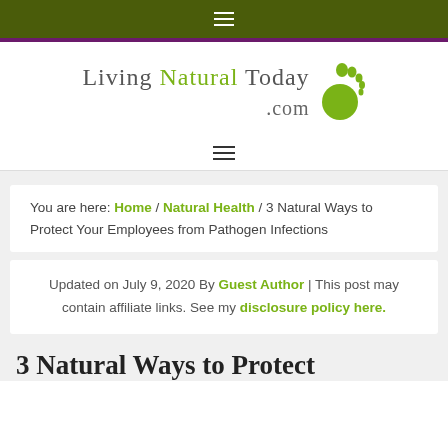≡ (hamburger menu icon, top navigation)
[Figure (logo): Living Natural Today .com logo with green footprint icon]
≡ (hamburger menu icon, center navigation)
You are here: Home / Natural Health / 3 Natural Ways to Protect Your Employees from Pathogen Infections
Updated on July 9, 2020 By Guest Author | This post may contain affiliate links. See my disclosure policy here.
3 Natural Ways to Protect